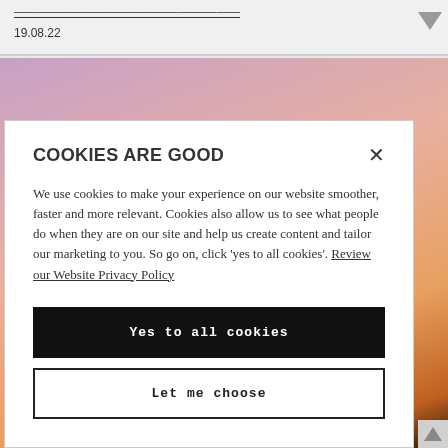19.08.22
[Figure (photo): Sunset sky background with purple, orange and warm tones, silhouette of trees at the bottom right]
COOKIES ARE GOOD
We use cookies to make your experience on our website smoother, faster and more relevant. Cookies also allow us to see what people do when they are on our site and help us create content and tailor our marketing to you. So go on, click 'yes to all cookies'. Review our Website Privacy Policy
Yes to all cookies
Let me choose